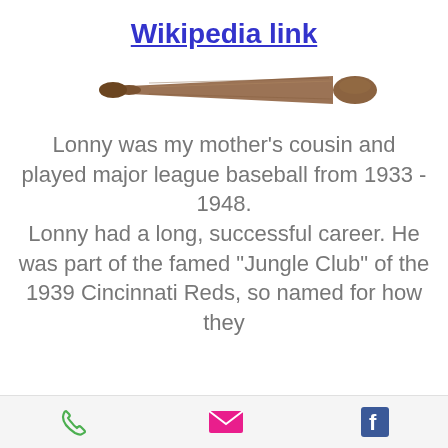Wikipedia link
[Figure (photo): A wooden baseball bat, photographed horizontally, brown/tan in color with a slightly darker handle end on the left and a rounded barrel on the right.]
Lonny was my mother's cousin and played major league baseball from 1933 - 1948. Lonny had a long, successful career. He was part of the famed "Jungle Club" of the 1939 Cincinnati Reds, so named for how they
Phone | Email | Facebook